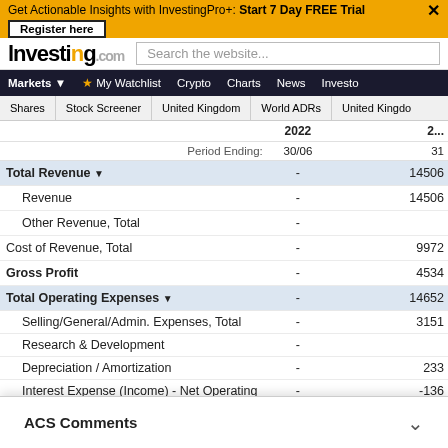Get Actionable Insights with InvestingPro+: Start 7 Day FREE Trial | Register here
[Figure (screenshot): Investing.com logo and search bar]
Markets | My Watchlist | Crypto | Charts | News | Investo
Shares | Stock Screener | United Kingdom | World ADRs | United Kingdom
|  | 2022 Period Ending: 30/06 | 2...31... |
| --- | --- | --- |
| Total Revenue | - | 14506 |
| Revenue | - | 14506 |
| Other Revenue, Total | - |  |
| Cost of Revenue, Total | - | 9972 |
| Gross Profit | - | 4534 |
| Total Operating Expenses | - | 14652 |
| Selling/General/Admin. Expenses, Total | - | 3151 |
| Research & Development | - |  |
| Depreciation / Amortization | - | 233 |
| Interest Expense (Income) - Net Operating | - | -136 |
| Unusual Expense (Income) | - | 247 |
| Other Operating Expenses, Total | - | 1183 |
| Operating Inco... | - |  |
| Interest Income |  |  |
ACS Comments